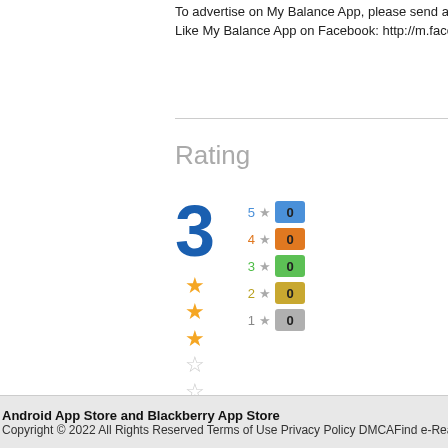To advertise on My Balance App, please send a…
Like My Balance App on Facebook: http://m.facebook.com/My-Balance-App/137253719685832
Rating
[Figure (infographic): Rating display showing a score of 3 out of 5, with 3 filled gold stars and 2 empty stars, 1 total rating. Bar breakdown: 5 stars: 0, 4 stars: 0, 3 stars: 0, 2 stars: 0, 1 star: 0.]
Android App Store and Blackberry App Store
Copyright © 2022 All Rights Reserved Terms of Use Privacy Policy DMCAFind e-Rea…